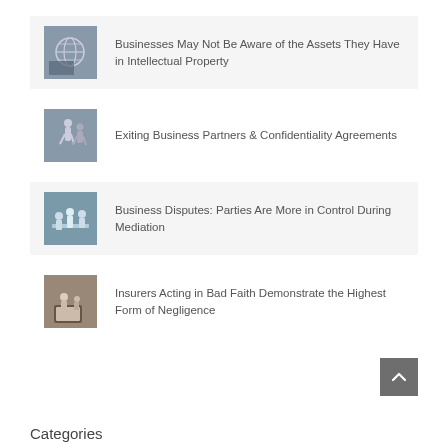[Figure (photo): Close-up of a globe on what appears to be a keyboard or financial documents, representing intellectual property]
Businesses May Not Be Aware of the Assets They Have in Intellectual Property
[Figure (photo): People in business attire walking, representing business partners]
Exiting Business Partners & Confidentiality Agreements
[Figure (photo): People sitting at a table in a meeting or mediation session]
Business Disputes: Parties Are More in Control During Mediation
[Figure (photo): People working together at a laptop, representing insurance bad faith discussion]
Insurers Acting in Bad Faith Demonstrate the Highest Form of Negligence
Categories